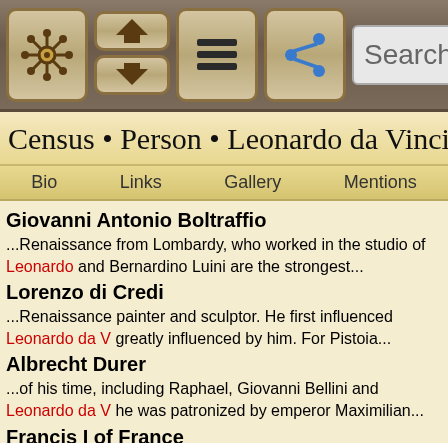[Figure (screenshot): Mobile app toolbar with navigation icons: ship wheel, home/up buttons, hamburger menu, share button, and search field]
Census • Person • Leonardo da Vinci
Bio   Links   Gallery   Mentions
Giovanni Antonio Boltraffio
...Renaissance from Lombardy, who worked in the studio of Leonardo and Bernardino Luini are the strongest...
Lorenzo di Credi
...Renaissance painter and sculptor. He first influenced Leonardo da V greatly influenced by him. For Pistoia...
Albrecht Durer
...of his time, including Raphael, Giovanni Bellini and Leonardo da V he was patronized by emperor Maximilian...
Francis I of France
...artists to work on the Château de Chambord, including Leonardo d the Mona Lisa with him, which Francis...
Athanasius Kircher
...been compared to fellow Jesuit Rudjer Boscovich and to Leonardo enormous range of interests, and has been...
Raphael
...ideal of human grandeur. Together with Michelangelo and Leonr...